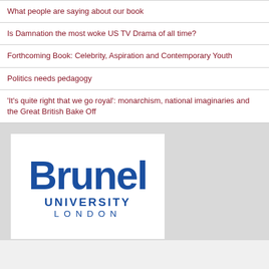What people are saying about our book
Is Damnation the most woke US TV Drama of all time?
Forthcoming Book: Celebrity, Aspiration and Contemporary Youth
Politics needs pedagogy
'It's quite right that we go royal': monarchism, national imaginaries and the Great British Bake Off
[Figure (logo): Brunel University London logo — bold blue text showing 'Brunel' in large font, then 'UNIVERSITY' and 'LONDON' below in spaced capitals]